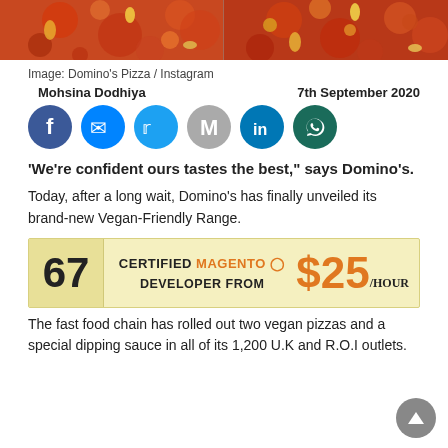[Figure (photo): Top portion of pizza images, two pizzas side by side with colorful toppings]
Image: Domino's Pizza / Instagram
Mohsina Dodhiya    7th September 2020
[Figure (infographic): Social media share buttons: Facebook, Messenger, Twitter, Gmail, LinkedIn, WhatsApp]
‘We’re confident ours tastes the best,” says Domino’s.
Today, after a long wait, Domino’s has finally unveiled its brand-new Vegan-Friendly Range.
[Figure (infographic): Advertisement banner: 67 CERTIFIED MAGENTO DEVELOPER FROM $25/HOUR]
The fast food chain has rolled out two vegan pizzas and a special dipping sauce in all of its 1,200 U.K and R.O.I outlets.